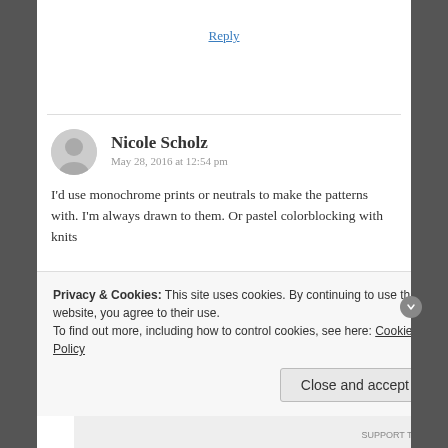Reply
Nicole Scholz
May 28, 2016 at 12:54 pm
I'd use monochrome prints or neutrals to make the patterns with. I'm always drawn to them. Or pastel colorblocking with knits
Privacy & Cookies: This site uses cookies. By continuing to use this website, you agree to their use.
To find out more, including how to control cookies, see here: Cookie Policy
Close and accept